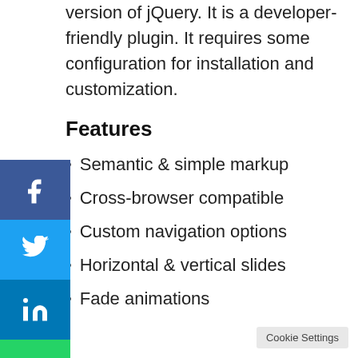version of jQuery. It is a developer-friendly plugin. It requires some configuration for installation and customization.
Features
Semantic & simple markup
Cross-browser compatible
Custom navigation options
Horizontal & vertical slides
Fade animations
Cookie Settings